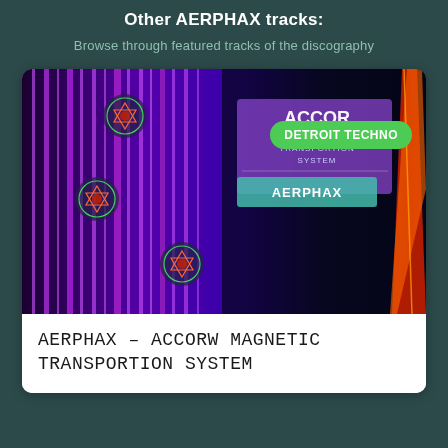Other AERPHAX tracks:
Browse through featured tracks of the discography
[Figure (photo): Album artwork for AERPHAX – ACCORW Magnetic Transportion System. Purple vertical light streaks on dark background with geometric mandala-like emblems. In the upper right area, two overlapping panels: one semi-transparent showing 'ACCORW MAGNETIC TRANSPORTION SYSTEM' text and 'AERPHAX' below it in a teal rectangle. A green pill-shaped badge reads 'DETROIT TECHNO'. A red and orange diagonal spire/obelisk visible at the right edge.]
AERPHAX – ACCORW MAGNETIC TRANSPORTION SYSTEM